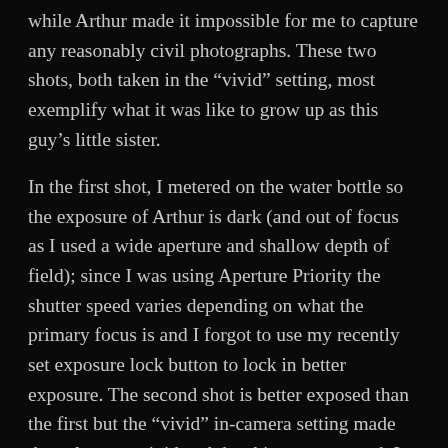while Arthur made it impossible for me to capture any reasonably civil photographs. These two shots, both taken in the “vivid” setting, most exemplify what it was like to grow up as this guy’s little sister.
In the first shot, I metered on the water bottle so the exposure of Arthur is dark (and out of focus as I used a wide aperture and shallow depth of field); since I was using Aperture Priority the shutter speed varies depending on what the primary focus is and I forgot to use my recently set exposure lock button to lock in better exposure. The second shot is better exposed than the first but the “vivid” in-camera setting made the colors too vivid and the skin tones too red. I have already returned my camera to RAW. I’d rather apply